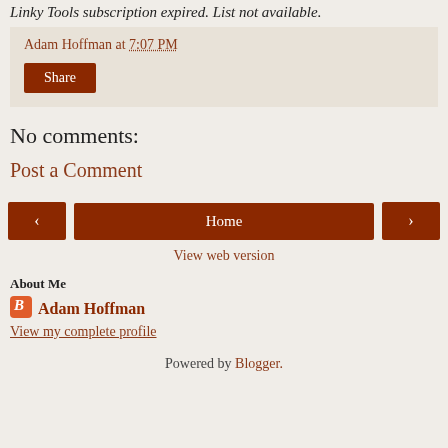Linky Tools subscription expired. List not available.
Adam Hoffman at 7:07 PM
Share
No comments:
Post a Comment
‹
Home
›
View web version
About Me
Adam Hoffman
View my complete profile
Powered by Blogger.